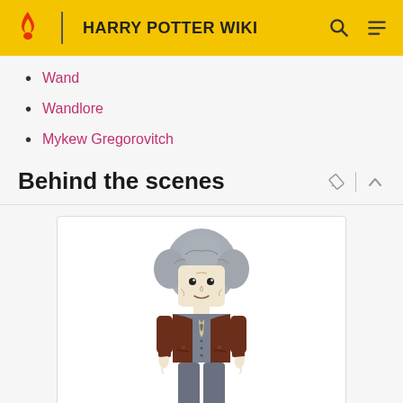HARRY POTTER WIKI
Wand
Wandlore
Mykew Gregorovitch
Behind the scenes
[Figure (photo): LEGO minifigure of an elderly man with gray puffy hair, wearing a dark brown jacket over a gray vest with a striped tie]